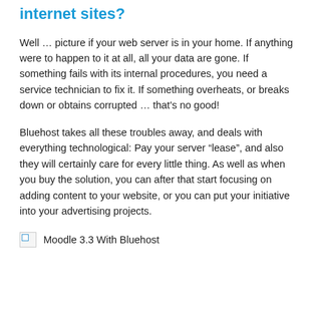internet sites?
Well … picture if your web server is in your home. If anything were to happen to it at all, all your data are gone. If something fails with its internal procedures, you need a service technician to fix it. If something overheats, or breaks down or obtains corrupted … that's no good!
Bluehost takes all these troubles away, and deals with everything technological: Pay your server “lease”, and also they will certainly care for every little thing. As well as when you buy the solution, you can after that start focusing on adding content to your website, or you can put your initiative into your advertising projects.
[Figure (photo): Broken image placeholder with label 'Moodle 3.3 With Bluehost']
Moodle 3.3 With Bluehost